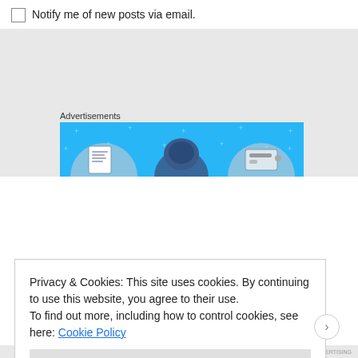Notify me of new posts via email.
Advertisements
[Figure (illustration): Advertisement banner with blue background showing three illustrated figures: a document/phone on the left, a person with dark helmet/hat in the center, and a device on the right, with sparkle/star decorations throughout]
Privacy & Cookies: This site uses cookies. By continuing to use this website, you agree to their use.
To find out more, including how to control cookies, see here: Cookie Policy
Close and accept